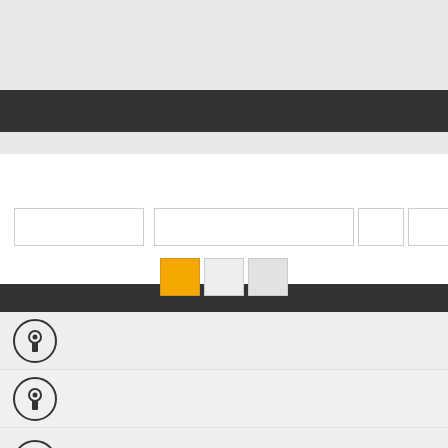[Figure (screenshot): Light gray banner/header area at top of UI]
[Figure (screenshot): Dark gray/charcoal navigation bar]
[Figure (screenshot): Light gray sub-header stripe]
[Figure (screenshot): White content area with input fields and color swatches. Input row has four input boxes. Below are three color swatches: orange, light gray, lighter gray.]
[Figure (screenshot): Dark gray divider bar]
[Figure (screenshot): Light gray list item row with keyhole/pin icon circle on left]
[Figure (screenshot): Light gray list item row with keyhole/pin icon circle on left]
[Figure (screenshot): Light gray list item row with lines/paragraph icon circle on left]